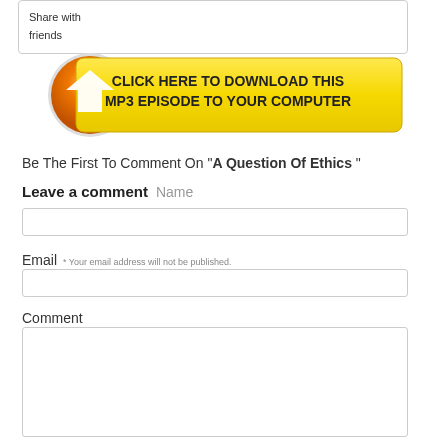Share with friends
[Figure (illustration): Orange and yellow download button with downward arrow icon and text: CLICK HERE TO DOWNLOAD THIS MP3 EPISODE TO YOUR COMPUTER]
Be The First To Comment On "A Question Of Ethics "
Leave a comment  Name
Email  * Your email address will not be published.
Comment